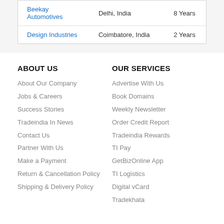| Beekay Automotives | Delhi, India | 8 Years |
| Design Industries | Coimbatore, India | 2 Years |
ABOUT US
About Our Company
Jobs & Careers
Success Stories
Tradeindia In News
Contact Us
Partner With Us
Make a Payment
Return & Cancellation Policy
Shipping & Delivery Policy
OUR SERVICES
Advertise With Us
Book Domains
Weekly Newsletter
Order Credit Report
Tradeindia Rewards
TI Pay
GetBizOnline App
TI Logistics
Digital vCard
Tradekhata